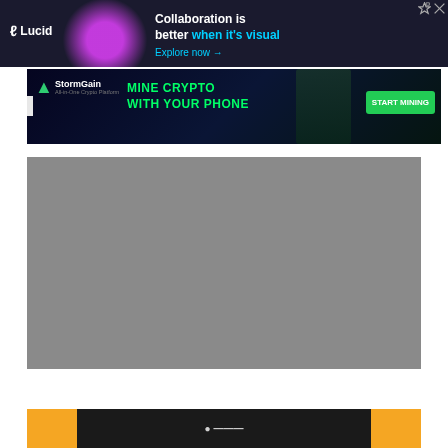[Figure (screenshot): Lucid advertisement banner: dark navy background with person graphic, Lucid logo, text 'Collaboration is better when it's visual', 'Explore now →' in cyan, AdChoices icon top right]
[Figure (screenshot): StormGain advertisement: dark background with cyan/green text 'MINE CRYPTO WITH YOUR PHONE', StormGain logo, START MINING green button, phone graphic on right]
[Figure (photo): Gray placeholder image / loading image area]
[Figure (screenshot): Partial bottom advertisement banner with orange/dark background, partially visible]